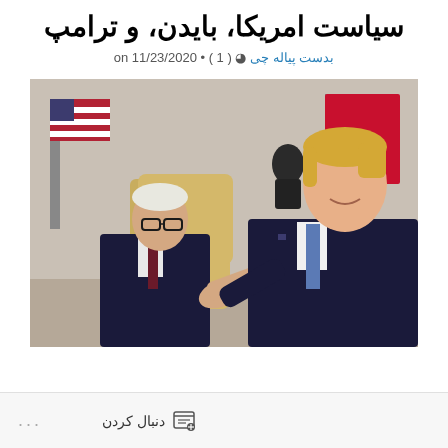سیاست امریکا، بایدن، و ترامپ
بدست پیاله چی ( 1 ) • on 11/23/2020
[Figure (photo): Two men in dark suits seated in what appears to be the Oval Office. An older man with glasses sits on the left, and a larger man gestures with his right hand on the right. An American flag and red flag are visible in the background.]
دنبال کردن ...